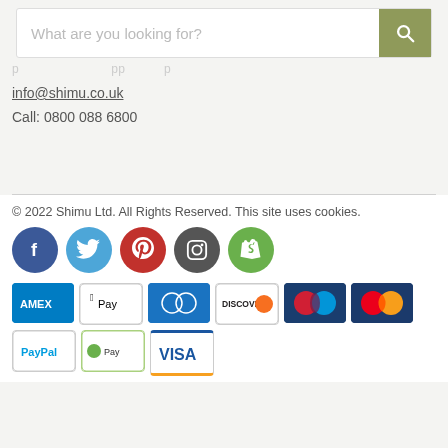[Figure (screenshot): Search bar with placeholder 'What are you looking for?' and olive/green search button with magnifier icon]
info@shimu.co.uk
Call: 0800 088 6800
© 2022 Shimu Ltd. All Rights Reserved. This site uses cookies.
[Figure (infographic): Social media icons: Facebook (blue), Twitter (light blue), Pinterest (red), Instagram (dark grey), Shopify (green)]
[Figure (infographic): Payment method icons: Amex, Apple Pay, Diners Club, Discover, Maestro, Mastercard, PayPal, Shopify Pay, Visa]